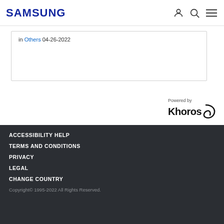SAMSUNG
in Others 04-26-2022
[Figure (logo): Powered by Khoros logo]
ACCESSIBILITY HELP
TERMS AND CONDITIONS
PRIVACY
LEGAL
CHANGE COUNTRY
Copyright© 1995-2022 All Rights Reserved.